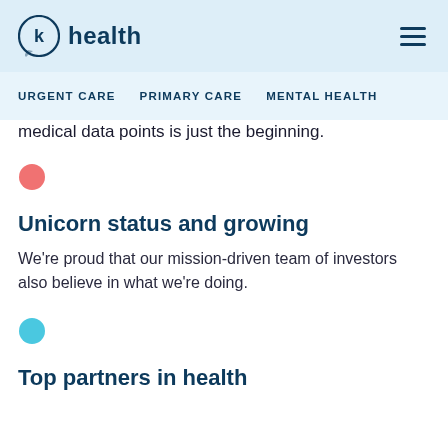K Health — URGENT CARE | PRIMARY CARE | MENTAL HEALTH
medical data points is just the beginning.
[Figure (illustration): Pink filled circle bullet point]
Unicorn status and growing
We're proud that our mission-driven team of investors also believe in what we're doing.
[Figure (illustration): Teal/cyan filled circle bullet point]
Top partners in health